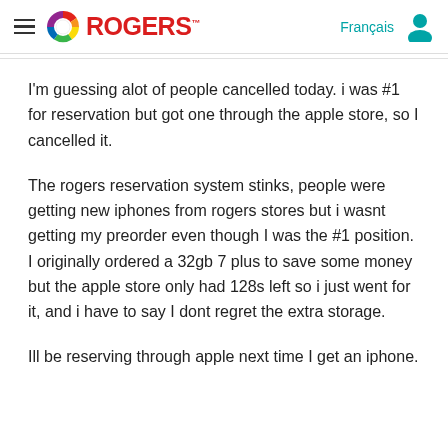Rogers — Français
I'm guessing alot of people cancelled today. i was #1 for reservation but got one through the apple store, so I cancelled it.
The rogers reservation system stinks, people were getting new iphones from rogers stores but i wasnt getting my preorder even though I was the #1 position. I originally ordered a 32gb 7 plus to save some money but the apple store only had 128s left so i just went for it, and i have to say I dont regret the extra storage.
Ill be reserving through apple next time I get an iphone.